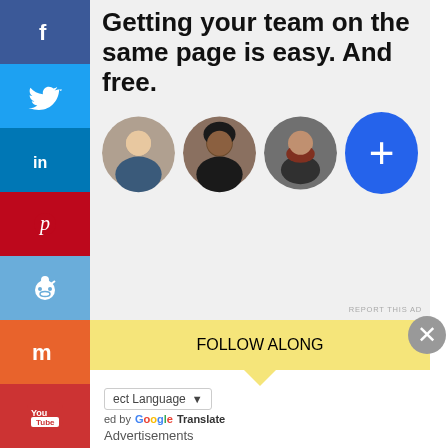[Figure (screenshot): Social media sharing sidebar with Facebook, Twitter, LinkedIn, Pinterest, Reddit, Medium, YouTube, and Email buttons stacked vertically on the left edge]
[Figure (screenshot): Advertisement block with bold text 'Getting your team on the same page is easy. And free.' with three circular avatar photos and a blue plus button]
REPORT THIS AD
ect Language
ed by Google Translate
FOLLOW ALONG
Advertisements